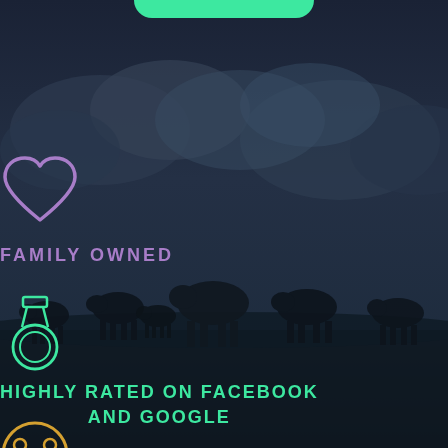[Figure (infographic): Dark blue background with cows silhouetted in a field and cloudy sky]
[Figure (illustration): Purple heart outline icon]
FAMILY OWNED
[Figure (illustration): Teal/green medal/award icon with circle and ribbon]
HIGHLY RATED ON FACEBOOK AND GOOGLE
[Figure (illustration): Partial gold/yellow circular icon at bottom of page]